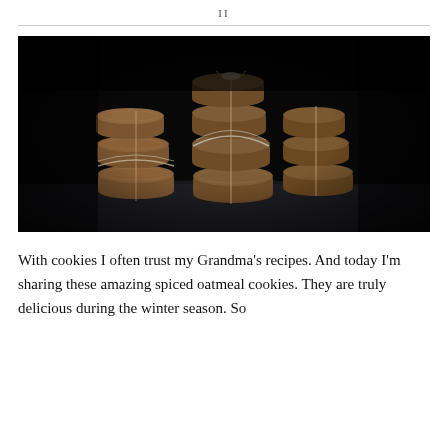II
[Figure (photo): Dark moody food photography of stacked oatmeal cookies tied with twine/lace, arranged in two groups on a dark surface with a nearly black background.]
With cookies I often trust my Grandma’s recipes. And today I’m sharing these amazing spiced oatmeal cookies. They are truly delicious during the winter season. So...